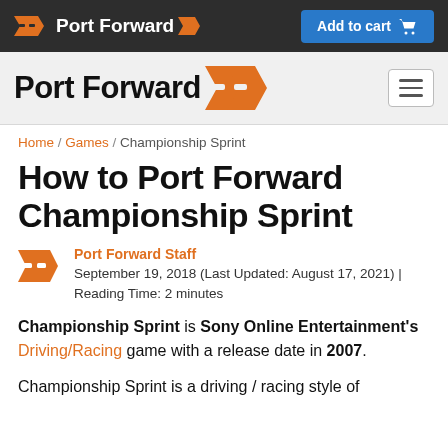Port Forward | Add to cart
[Figure (logo): Port Forward logo with orange chevron arrows and white text on dark background, plus 'Add to cart' blue button with cart icon]
[Figure (logo): Port Forward main logo with large black text and orange chevron arrows, with hamburger menu icon on right]
Home / Games / Championship Sprint
How to Port Forward Championship Sprint
Port Forward Staff
September 19, 2018 (Last Updated: August 17, 2021) | Reading Time: 2 minutes
Championship Sprint is Sony Online Entertainment's Driving/Racing game with a release date in 2007.
Championship Sprint is a driving / racing style of